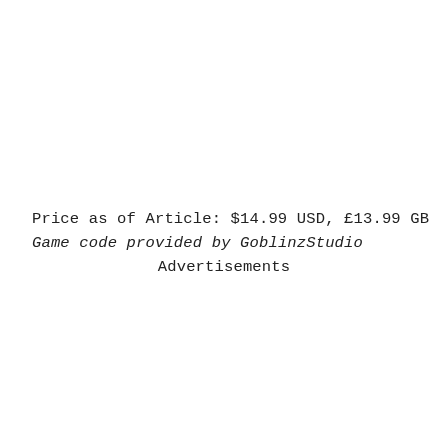Price as of Article: $14.99 USD, £13.99 GB
Game code provided by GoblinzStudio
Advertisements